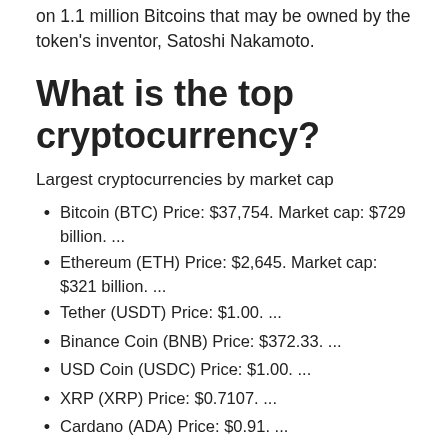on 1.1 million Bitcoins that may be owned by the token's inventor, Satoshi Nakamoto.
What is the top cryptocurrency?
Largest cryptocurrencies by market cap
Bitcoin (BTC) Price: $37,754. Market cap: $729 billion. ...
Ethereum (ETH) Price: $2,645. Market cap: $321 billion. ...
Tether (USDT) Price: $1.00. ...
Binance Coin (BNB) Price: $372.33. ...
USD Coin (USDC) Price: $1.00. ...
XRP (XRP) Price: $0.7107. ...
Cardano (ADA) Price: $0.91. ...